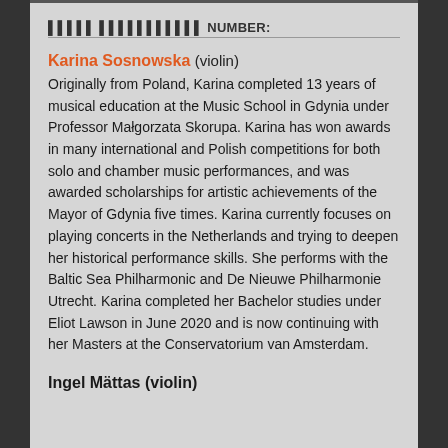▌▌▌▌▌ ▌▌▌▌▌▌▌▌▌▌▌ NUMBER:
Karina Sosnowska (violin)
Originally from Poland, Karina completed 13 years of musical education at the Music School in Gdynia under Professor Małgorzata Skorupa. Karina has won awards in many international and Polish competitions for both solo and chamber music performances, and was awarded scholarships for artistic achievements of the Mayor of Gdynia five times. Karina currently focuses on playing concerts in the Netherlands and trying to deepen her historical performance skills. She performs with the Baltic Sea Philharmonic and De Nieuwe Philharmonie Utrecht. Karina completed her Bachelor studies under Eliot Lawson in June 2020 and is now continuing with her Masters at the Conservatorium van Amsterdam.
Ingel Mättas (violin)